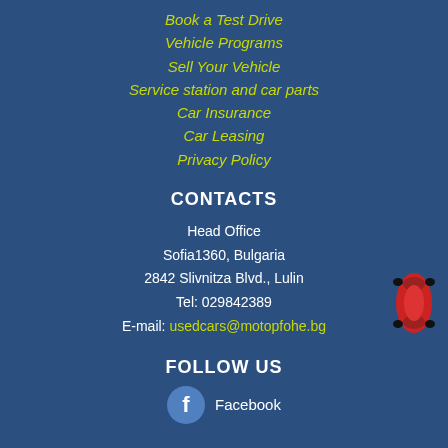Book a Test Drive
Vehicle Programs
Sell Your Vehicle
Service station and car parts
Car Insurance
Car Leasing
Privacy Policy
CONTACTS
Head Office
Sofia1360, Bulgaria
2842 Slivnitza Blvd., Lulin
Tel: 029842389
E-mail: usedcars@motopfohe.bg
[Figure (illustration): Red car icon viewed from above, positioned on the right side]
FOLLOW US
Facebook